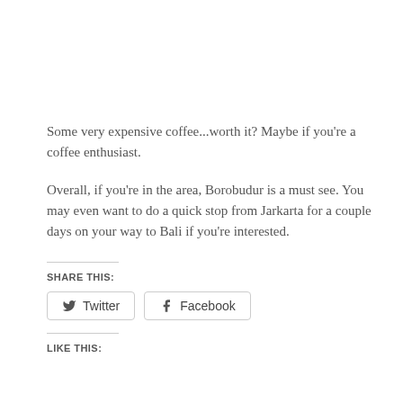Some very expensive coffee...worth it? Maybe if you're a coffee enthusiast.
Overall, if you're in the area, Borobudur is a must see. You may even want to do a quick stop from Jarkarta for a couple days on your way to Bali if you're interested.
SHARE THIS:
[Figure (other): Twitter and Facebook share buttons]
LIKE THIS: